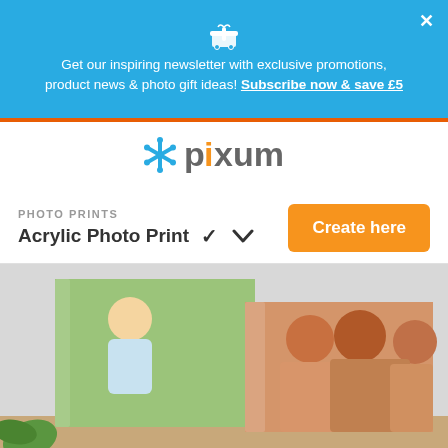Get our inspiring newsletter with exclusive promotions, product news & photo gift ideas! Subscribe now & save £5
[Figure (logo): Pixum logo with blue asterisk/star icon and grey text 'pixum' with orange dot]
PHOTO PRINTS
Acrylic Photo Print
[Figure (photo): Two acrylic photo prints displayed on a wooden surface against a grey wall. One shows a parent lifting a baby outdoors, the other shows three smiling women together.]